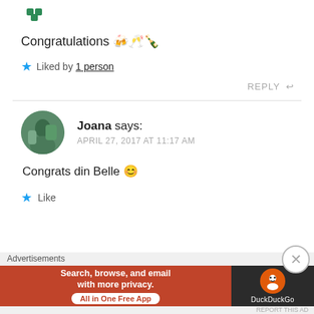Congratulations 🍻🥂🍾
★ Liked by 1 person
REPLY ↩
Joana says: APRIL 27, 2017 AT 11:17 AM
Congrats din Belle 😊
★ Like
Advertisements
[Figure (screenshot): DuckDuckGo advertisement banner: 'Search, browse, and email with more privacy. All in One Free App']